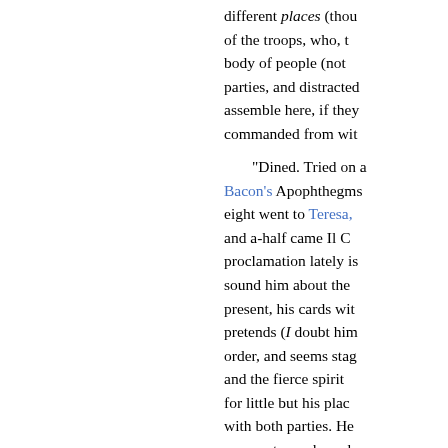different places (thou of the troops, who, t body of people (not parties, and distracted assemble here, if they commanded from wit
"Dined. Tried on a Bacon's Apophthegms eight went to Teresa, and a-half came Il C proclamation lately is sound him about the present, his cards wit pretends (I doubt him order, and seems stag and the fierce spirit for little but his plac with both parties. He moons, to my knowl bloody fellow—only